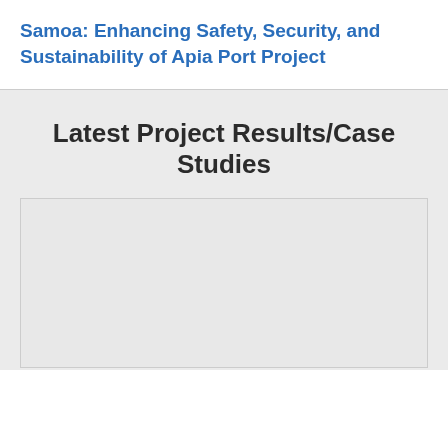Samoa: Enhancing Safety, Security, and Sustainability of Apia Port Project
Latest Project Results/Case Studies
[Figure (other): Empty gray card/placeholder box below the Latest Project Results/Case Studies section header]